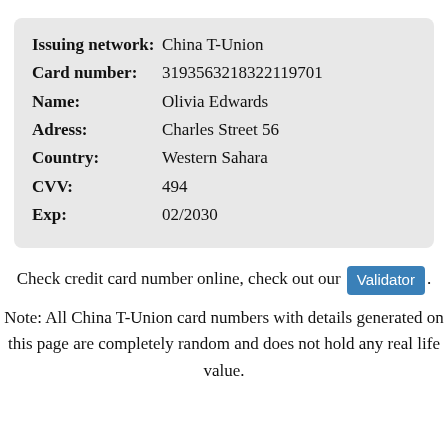| Field | Value |
| --- | --- |
| Issuing network: | China T-Union |
| Card number: | 3193563218322119701 |
| Name: | Olivia Edwards |
| Adress: | Charles Street 56 |
| Country: | Western Sahara |
| CVV: | 494 |
| Exp: | 02/2030 |
Check credit card number online, check out our Validator.
Note: All China T-Union card numbers with details generated on this page are completely random and does not hold any real life value.